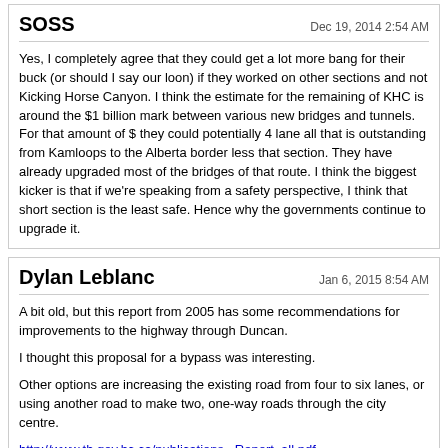SOSS
Dec 19, 2014 2:54 AM
Yes, I completely agree that they could get a lot more bang for their buck (or should I say our loon) if they worked on other sections and not Kicking Horse Canyon. I think the estimate for the remaining of KHC is around the $1 billion mark between various new bridges and tunnels. For that amount of $ they could potentially 4 lane all that is outstanding from Kamloops to the Alberta border less that section. They have already upgraded most of the bridges of that route. I think the biggest kicker is that if we're speaking from a safety perspective, I think that short section is the least safe. Hence why the governments continue to upgrade it.
Dylan Leblanc
Jan 6, 2015 8:54 AM
A bit old, but this report from 2005 has some recommendations for improvements to the highway through Duncan.

I thought this proposal for a bypass was interesting.

Other options are increasing the existing road from four to six lanes, or using another road to make two, one-way roads through the city centre.

http://www.th.gov.bc.ca/publications...Report_all.pdf

http://gingert.net/images/duncan-hig...ssproposal.jpg